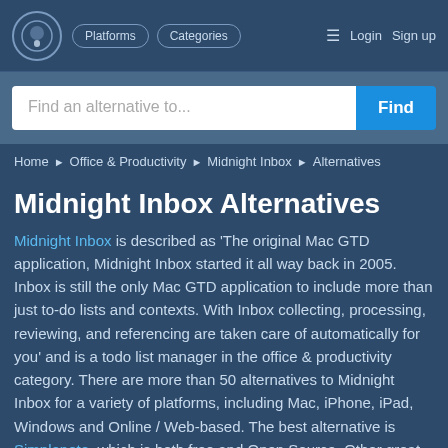Platforms  Categories  Login  Sign up
[Figure (screenshot): Search bar with placeholder text 'Find an alternative to...' and a blue 'Find' button]
Home ► Office & Productivity ► Midnight Inbox ► Alternatives
Midnight Inbox Alternatives
Midnight Inbox is described as 'The original Mac GTD application, Midnight Inbox started it all way back in 2005. Inbox is still the only Mac GTD application to include more than just to-do lists and contexts. With Inbox collecting, processing, reviewing, and referencing are taken care of automatically for you' and is a todo list manager in the office & productivity category. There are more than 50 alternatives to Midnight Inbox for a variety of platforms, including Mac, iPhone, iPad, Windows and Online / Web-based. The best alternative is Simplenote, which is both free and Open Source. Other great apps like Midnight Inbox are Org mode,